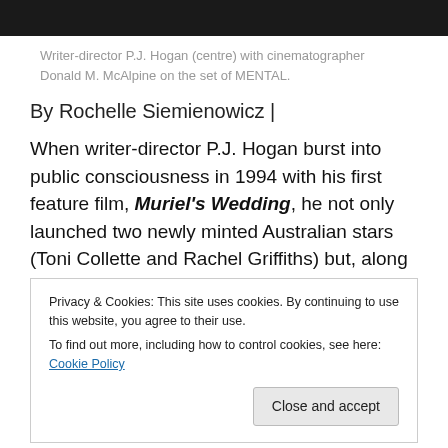[Figure (photo): Dark photo strip at top of page showing people on a film set]
Writer-director P.J. Hogan (centre) with cinematographer Donald M. McAlpine on the set of MENTAL.
By Rochelle Siemienowicz |
When writer-director P.J. Hogan burst into public consciousness in 1994 with his first feature film, Muriel's Wedding, he not only launched two newly minted Australian stars (Toni Collette and Rachel Griffiths) but, along with Priscilla, Queen of the Desert, helped to fuel a fervent ABBA revival.
Privacy & Cookies: This site uses cookies. By continuing to use this website, you agree to their use.
To find out more, including how to control cookies, see here: Cookie Policy
film to Cannes, Sundance and Toronto, and won Muriel's